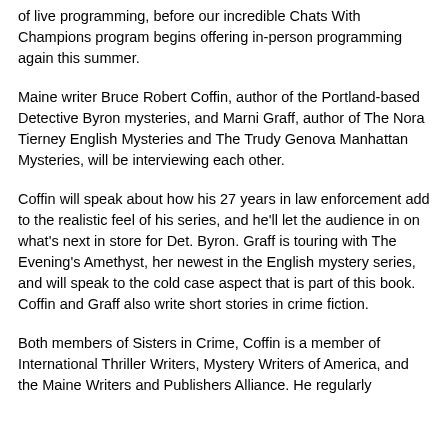of live programming, before our incredible Chats With Champions program begins offering in-person programming again this summer.
Maine writer Bruce Robert Coffin, author of the Portland-based Detective Byron mysteries, and Marni Graff, author of The Nora Tierney English Mysteries and The Trudy Genova Manhattan Mysteries, will be interviewing each other.
Coffin will speak about how his 27 years in law enforcement add to the realistic feel of his series, and he'll let the audience in on what's next in store for Det. Byron. Graff is touring with The Evening's Amethyst, her newest in the English mystery series, and will speak to the cold case aspect that is part of this book. Coffin and Graff also write short stories in crime fiction.
Both members of Sisters in Crime, Coffin is a member of International Thriller Writers, Mystery Writers of America, and the Maine Writers and Publishers Alliance. He regularly